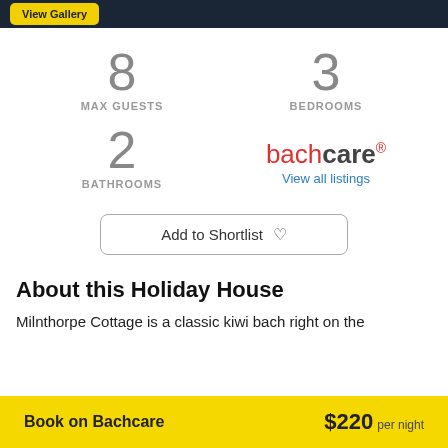View Gallery
8 MAX GUESTS
3 BEDROOMS
2 BATHROOMS
[Figure (logo): Bachcare logo with red 'bach' and dark 'care' text, with 'View all listings' below]
Add to Shortlist ♡
About this Holiday House
Milnthorpe Cottage is a classic kiwi bach right on the waterfront of Raglan, just half an hour's drive from...
Book on Bachcare  $220 per night